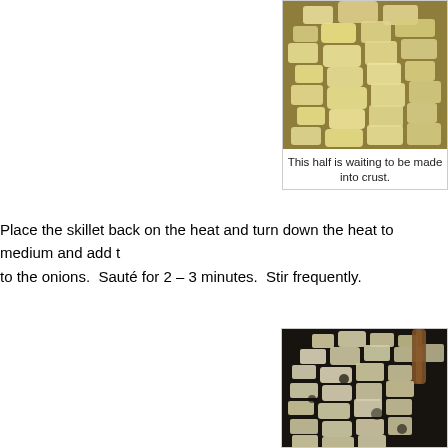[Figure (photo): Close-up photo of diced onions in a pan or bowl, pale yellow-white cooked onions]
This half is waiting to be made into crust.
Place the skillet back on the heat and turn down the heat to medium and add t to the onions.  Sauté for 2 – 3 minutes.  Stir frequently.
[Figure (photo): Close-up photo of diced onions and garlic sautéing in a dark skillet with a wooden spoon visible]